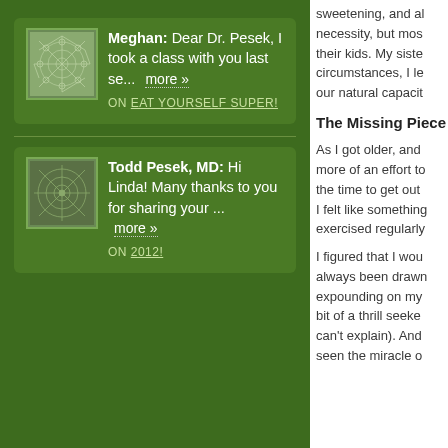Meghan: Dear Dr. Pesek, I took a class with you last se... more » ON EAT YOURSELF SUPER!
Todd Pesek, MD: Hi Linda! Many thanks to you for sharing your ... more » ON 2012!
sweetening, and al... necessity, but mos... their kids. My siste... circumstances, I le... our natural capacit...
The Missing Piece
As I got older, and... more of an effort to... the time to get out... I felt like something... exercised regularly...
I figured that I wou... always been drawn... expounding on my... bit of a thrill seeker... can't explain). And... seen the miracle o...